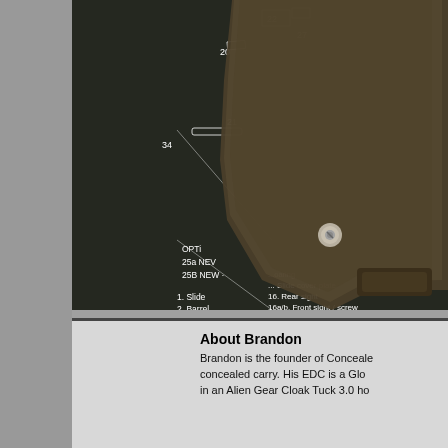[Figure (photo): Close-up photo of a dark brown/olive Kydex gun holster resting on a Glock parts diagram/exploded view sheet. The diagram shows numbered parts including Slide, Barrel, Recoil spring assembly, Firing pin, Slide cover plate, Rear sight, Front sight/screw, Receiver, and more. The holster has a metal screw/rivet visible and a clip attachment at the bottom right.]
[Figure (photo): Small thumbnail photo showing a dark blue/black firearm (appears to be a Glock) on a yellow background, partially visible.]
About Brandon
Brandon is the founder of Conceale... concealed carry. His EDC is a Glo... in an Alien Gear Cloak Tuck 3.0 ho...